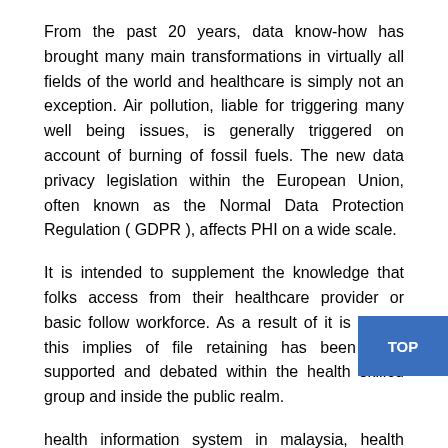From the past 20 years, data know-how has brought many main transformations in virtually all fields of the world and healthcare is simply not an exception. Air pollution, liable for triggering many well being issues, is generally triggered on account of burning of fossil fuels. The new data privacy legislation within the European Union, often known as the Normal Data Protection Regulation ( GDPR ), affects PHI on a wide scale.
It is intended to supplement the knowledge that folks access from their healthcare provider or basic follow workforce. As a result of it is digital, this implies of file retaining has been each supported and debated within the health skilled group and inside the public realm.
health information system in malaysia, health information management ahima, health information system in singapore
When talking of healthcare methods one envisages an information intensive business inside which reliable and timely data is actually used so as to plan and monitor service